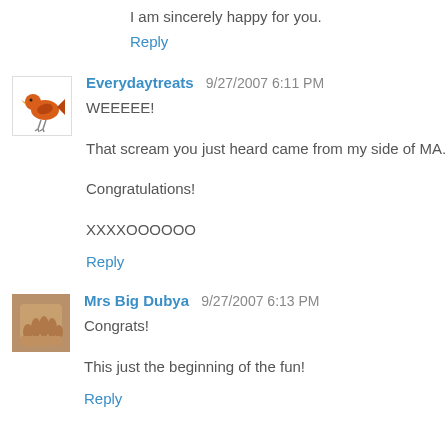I am sincerely happy for you.
Reply
Everydaytreats  9/27/2007 6:11 PM
WEEEEE!
That scream you just heard came from my side of MA.
Congratulations!
XXXXOOOOOO
Reply
Mrs Big Dubya  9/27/2007 6:13 PM
Congrats!
This just the beginning of the fun!
Reply